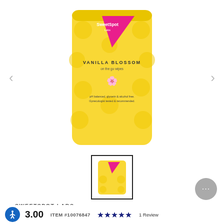[Figure (photo): Yellow wipes package with pink triangle logo, SweetSpot Labs brand, Vanilla Blossom On-The-Go Wipes, with polka dot pattern and text 'pH balanced, glycerin & alcohol free. Gynecologist tested & recommended.']
[Figure (photo): Small thumbnail of the same yellow wipes package with pink triangle, shown in a black-bordered box]
SWEETSPOT LABS
On-The-Go Wipes - Vanilla Blossom
3.00   ITEM #10076847   ★★★★★ 1 Review